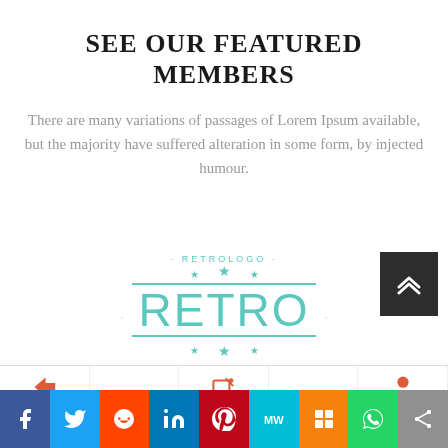SEE OUR FEATURED MEMBERS
There are many variations of passages of Lorem Ipsum available, but the majority have suffered alteration in some form, by injected humour.
[Figure (logo): Retro logo with teal text RETRO, horizontal lines, stars, dots, and RETROLOGO text above]
[Figure (other): Dark grey square button with white double chevron up arrow]
[Figure (other): Bottom icon row with login, edit, and profile icons in red/orange]
[Figure (other): Social sharing bar with Facebook, Twitter, Reddit, LinkedIn, Pinterest, MeWe, Mix, WhatsApp, and share buttons]